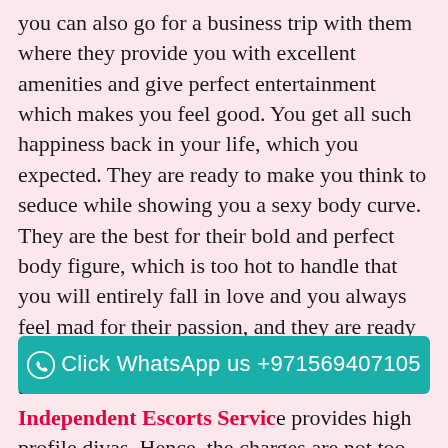you can also go for a business trip with them where they provide you with excellent amenities and give perfect entertainment which makes you feel good. You get all such happiness back in your life, which you expected. They are ready to make you think to seduce while showing you a sexy body curve. They are the best for their bold and perfect body figure, which is too hot to handle that you will entirely fall in love and you always feel mad for their passion, and they are ready to give you perfect physical love at an affordable rate. Ras Al Khaimah Independent Escorts Service provides high profile divas. Hence, the charges are not too high, and you can easily afford it if you need sexy babes. We will ensure you get the proper comfortable and unique lovemaking session that you expected from your earlier Escorts from their service. They are ready to make your day pleasant and always give pleasurable love, which can change your mood, and they will make sure no distance between you two, and you will not even hesitate to do such naughty activities for your satisfaction. Our
Click WhatsApp us +971569407105